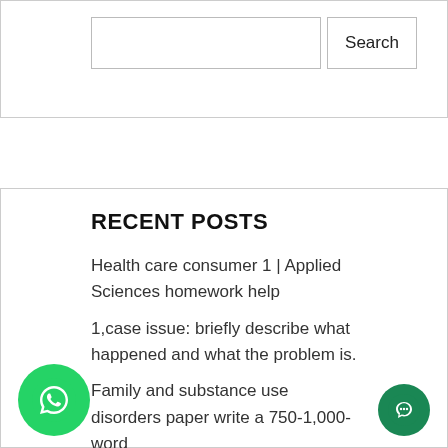Search
RECENT POSTS
Health care consumer 1 | Applied Sciences homework help
1,case issue: briefly describe what happened and what the problem is.
Family and substance use disorders paper write a 750-1,000-word
Assignment 2: writer's self-assessment by now you will have gained
. define pneumothorax. 26. define hemothorax. 27.